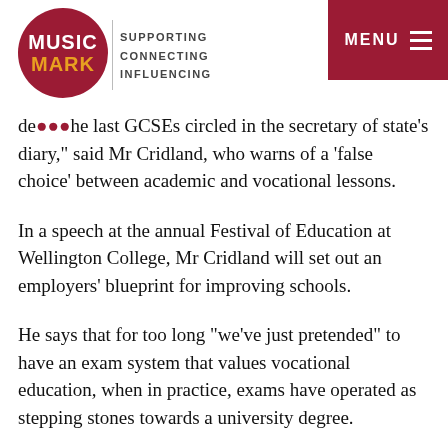[Figure (logo): Music Mark logo: dark red circle with MUSIC in white and MARK in yellow/orange, next to text SUPPORTING CONNECTING INFLUENCING]
MENU
de... the last GCSEs circled in the secretary of state’s diary,” said Mr Cridland, who warns of a ‘false choice’ between academic and vocational lessons.
In a speech at the annual Festival of Education at Wellington College, Mr Cridland will set out an employers’ blueprint for improving schools.
He says that for too long “we’ve just pretended” to have an exam system that values vocational education, when in practice, exams have operated as stepping stones towards a university degree.